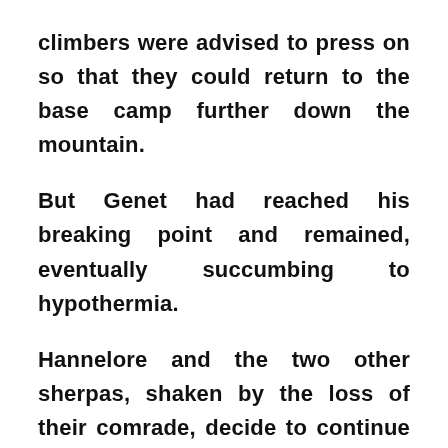climbers were advised to press on so that they could return to the base camp further down the mountain.

But Genet had reached his breaking point and remained, eventually succumbing to hypothermia.

Hannelore and the two other sherpas, shaken by the loss of their comrade, decide to continue their descent. But it was too late; Hannelore's body had already begun to succumb to the harsh weather. Her last words, according to the sherpa who was with her,